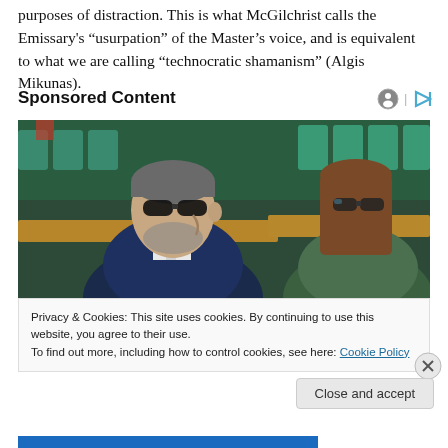purposes of distraction. This is what McGilchrist calls the Emissary's “usurpation” of the Master’s voice, and is equivalent to what we are calling “technocratic shamanism” (Algis Mikunas).
Sponsored Content
[Figure (photo): Two people wearing sunglasses seated in stadium stands. A man in a suit on the left and a woman with long brown hair on the right, with green/teal seats visible behind them.]
Privacy & Cookies: This site uses cookies. By continuing to use this website, you agree to their use.
To find out more, including how to control cookies, see here: Cookie Policy
Close and accept